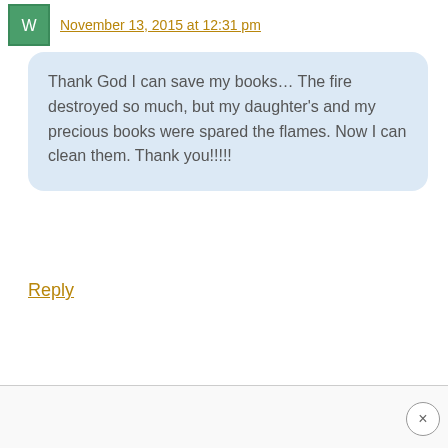November 13, 2015 at 12:31 pm
Thank God I can save my books… The fire destroyed so much, but my daughter's and my precious books were spared the flames. Now I can clean them. Thank you!!!!!
Reply
×